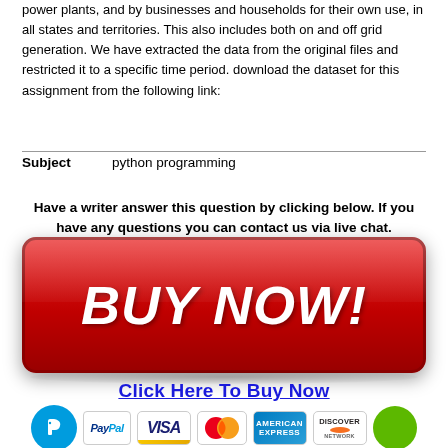power plants, and by businesses and households for their own use, in all states and territories. This also includes both on and off grid generation. We have extracted the data from the original files and restricted it to a specific time period. download the dataset for this assignment from the following link:
| Subject |  |
| --- | --- |
| Subject | python programming |
Have a writer answer this question by clicking below. If you have any questions you can contact us via live chat.
[Figure (other): Red BUY NOW! button with rounded corners and glossy effect]
Click Here To Buy Now
[Figure (other): Payment method icons: PayPal, Visa, MasterCard, American Express, Discover, plus decorative circles]